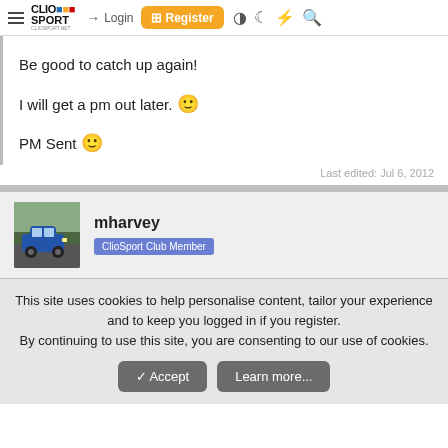ClioSport Login Register
Be good to catch up again!
I will get a pm out later. 🙂
PM Sent 🙂
Last edited: Jul 6, 2012
mharvey
ClioSport Club Member
This site uses cookies to help personalise content, tailor your experience and to keep you logged in if you register. By continuing to use this site, you are consenting to our use of cookies.
Accept  Learn more...